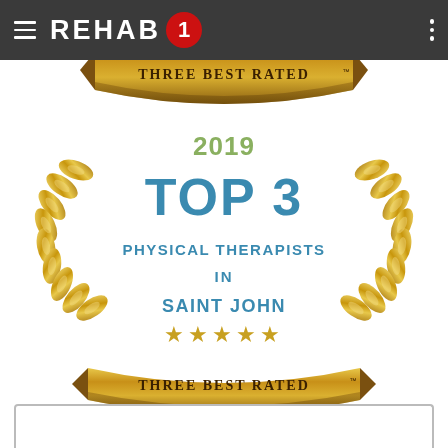[Figure (logo): Rehab 1 logo in white text on dark grey navigation bar with hamburger menu and vertical dots menu]
[Figure (infographic): Three Best Rated award badge - golden laurel wreath medallion. Text inside reads: 2019, TOP 3, PHYSICAL THERAPISTS IN SAINT JOHN, five gold stars. Top and bottom gold ribbon banners read THREE BEST RATED with TM symbol. Top ribbon partially cropped at top of image, full badge visible below.]
[Figure (other): Partial white box with grey border visible at bottom of page]